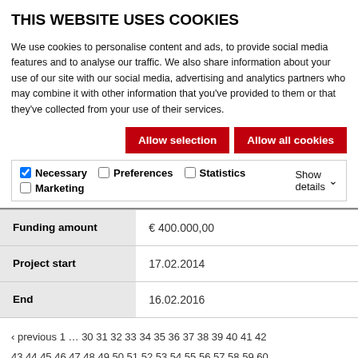THIS WEBSITE USES COOKIES
We use cookies to personalise content and ads, to provide social media features and to analyse our traffic. We also share information about your use of our site with our social media, advertising and analytics partners who may combine it with other information that you've provided to them or that they've collected from your use of their services.
| Funding amount | € 400.000,00 |
| Project start | 17.02.2014 |
| End | 16.02.2016 |
‹ previous 1 … 30 31 32 33 34 35 36 37 38 39 40 41 42 43 44 45 46 47 48 49 50 51 52 53 54 55 56 57 58 59 60 61 62 63 64 65 66 67 68 69 70 71 72 73 74 75 76 77 78 79 80 81 82 83 84 85 86 87 88 89 90 91 92 93 94 95 96